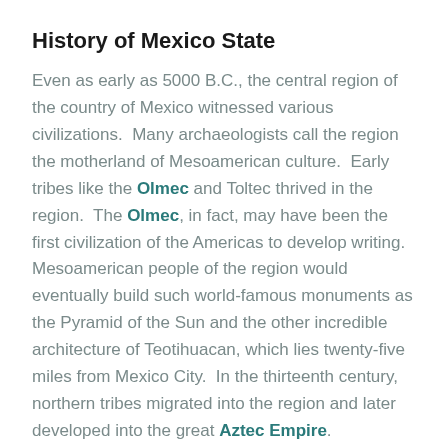History of Mexico State
Even as early as 5000 B.C., the central region of the country of Mexico witnessed various civilizations.  Many archaeologists call the region the motherland of Mesoamerican culture.  Early tribes like the Olmec and Toltec thrived in the region.  The Olmec, in fact, may have been the first civilization of the Americas to develop writing.  Mesoamerican people of the region would eventually build such world-famous monuments as the Pyramid of the Sun and the other incredible architecture of Teotihuacan, which lies twenty-five miles from Mexico City.  In the thirteenth century, northern tribes migrated into the region and later developed into the great Aztec Empire.